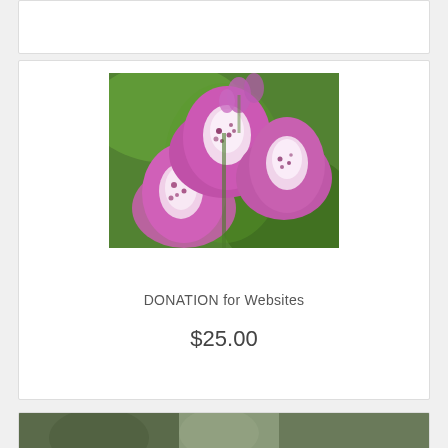[Figure (photo): Pink foxglove flowers close-up photograph against a green background]
DONATION for Websites
$25.00
[Figure (photo): Partially visible photograph at the bottom of the page]